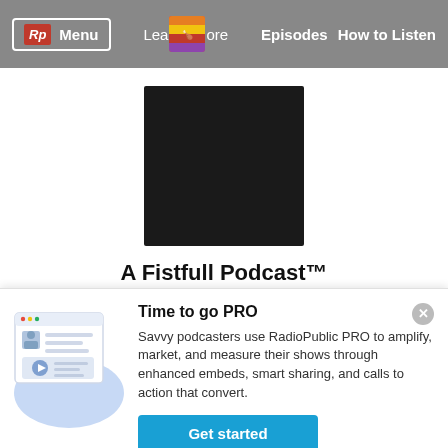Rp Menu  Learn more  Episodes  How to Listen
[Figure (screenshot): Black square podcast cover art for A Fistfull Podcast]
A Fistfull Podcast™
A podcast that is centered around everything for everybody while focusing on the primary goal... "to inspire" all listeners. This podcast of inspirational
Time to go PRO
Savvy podcasters use RadioPublic PRO to amplify, market, and measure their shows through enhanced embeds, smart sharing, and calls to action that convert.
Get started